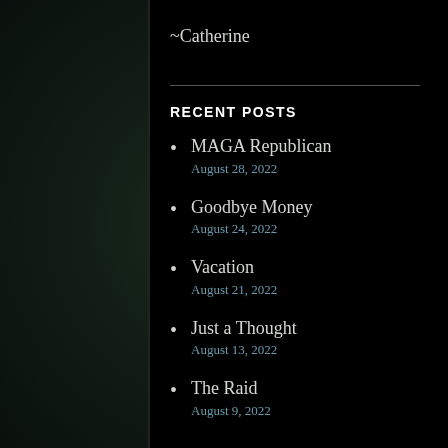~Catherine
RECENT POSTS
MAGA Republican
August 28, 2022
Goodbye Money
August 24, 2022
Vacation
August 21, 2022
Just a Thought
August 13, 2022
The Raid
August 9, 2022